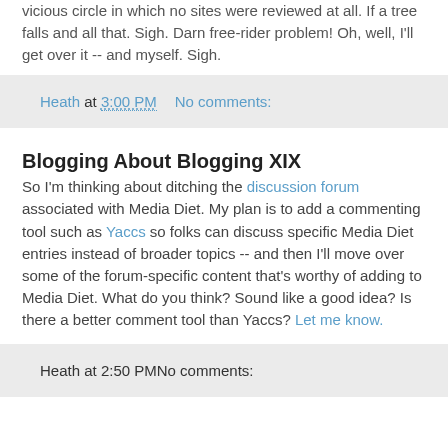vicious circle in which no sites were reviewed at all. If a tree falls and all that. Sigh. Darn free-rider problem! Oh, well, I'll get over it -- and myself. Sigh.
Heath at 3:00 PM   No comments:
Blogging About Blogging XIX
So I'm thinking about ditching the discussion forum associated with Media Diet. My plan is to add a commenting tool such as Yaccs so folks can discuss specific Media Diet entries instead of broader topics -- and then I'll move over some of the forum-specific content that's worthy of adding to Media Diet. What do you think? Sound like a good idea? Is there a better comment tool than Yaccs? Let me know.
Heath at 2:50 PM   No comments: